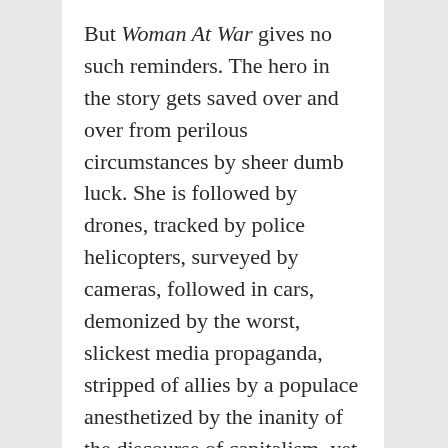But Woman At War gives no such reminders. The hero in the story gets saved over and over from perilous circumstances by sheer dumb luck. She is followed by drones, tracked by police helicopters, surveyed by cameras, followed in cars, demonized by the worst, slickest media propaganda, stripped of allies by a populace anesthetized by the inanity of the discourse of capitalism, yet still always escapes. This is